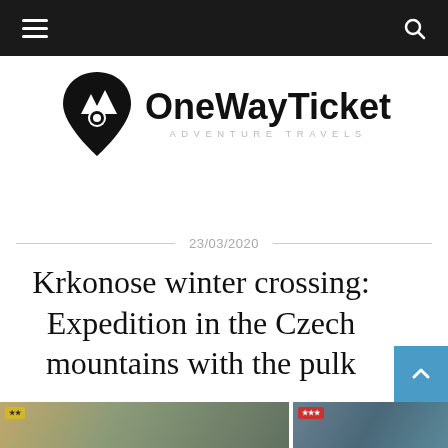Navigation bar with hamburger menu and search icon
[Figure (logo): OneWayTicket Adventure Travels logo — black map pin icon with mountain silhouette and circle, next to bold text 'OneWayTicket' and subtitle 'ADVENTURE TRAVELS']
23/03/2020
Krkonose winter crossing: Expedition in the Czech mountains with the pulk
[Figure (photo): Bottom strip showing partial photos of outdoor/travel scenes]